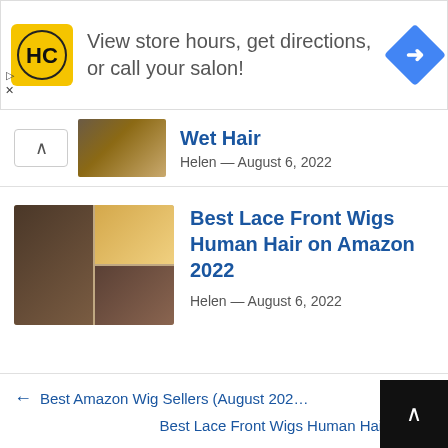[Figure (screenshot): Advertisement banner with HC salon logo in yellow square, text 'View store hours, get directions, or call your salon!', and a blue directional diamond icon on the right.]
Wet Hair
Helen — August 6, 2022
[Figure (photo): Collage thumbnail of women with different wig styles — curly black hair, straight blonde hair, and dark straight hair.]
Best Lace Front Wigs Human Hair on Amazon 2022
Helen — August 6, 2022
← Best Amazon Wig Sellers (August 2022…
Best Lace Front Wigs Human Hair on →